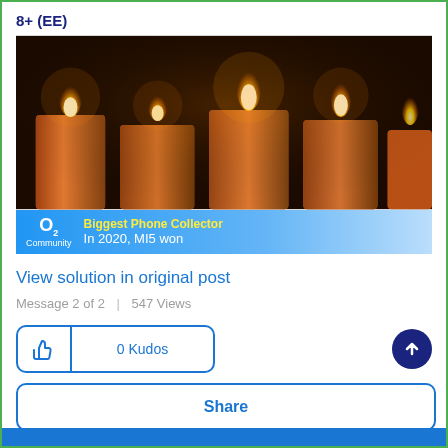8+ (EE)
[Figure (photo): Photo of four lit orange candles glowing against a dark background, with an O2 Community banner overlay at the bottom showing 'Biggest Phone Collector' badge and text 'In 2020, MI5 won']
View solution in original post
Message 2 of 2  |  547 Views
0 Kudos
Share